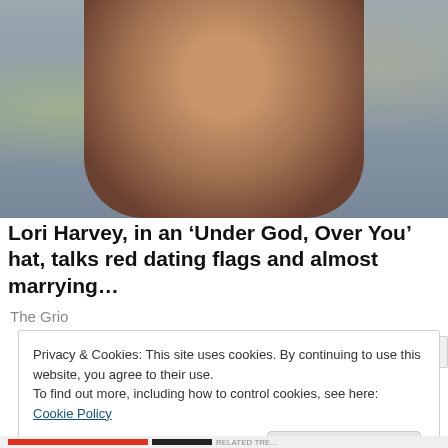[Figure (photo): Photo of Lori Harvey, a young woman with dark hair pulled back, wearing a dark blazer over a leopard-print outfit with a pearl necklace, looking at the camera with a blurred crowd in the background.]
Lori Harvey, in an ‘Under God, Over You’ hat, talks red dating flags and almost marrying…
The Grio
Privacy & Cookies: This site uses cookies. By continuing to use this website, you agree to their use.
To find out more, including how to control cookies, see here: Cookie Policy
Close and accept